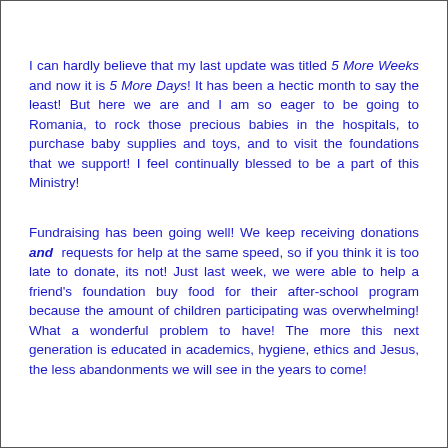I can hardly believe that my last update was titled 5 More Weeks and now it is 5 More Days! It has been a hectic month to say the least! But here we are and I am so eager to be going to Romania, to rock those precious babies in the hospitals, to purchase baby supplies and toys, and to visit the foundations that we support! I feel continually blessed to be a part of this Ministry!
Fundraising has been going well! We keep receiving donations and requests for help at the same speed, so if you think it is too late to donate, its not! Just last week, we were able to help a friend's foundation buy food for their after-school program because the amount of children participating was overwhelming! What a wonderful problem to have! The more this next generation is educated in academics, hygiene, ethics and Jesus, the less abandonments we will see in the years to come!